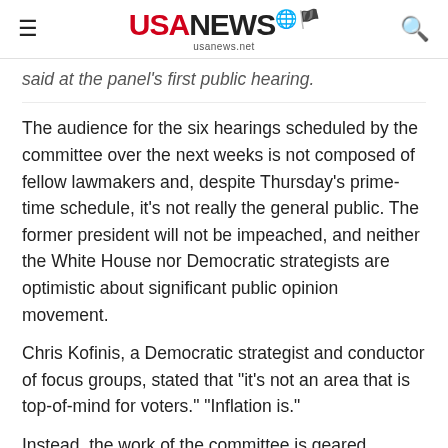USA NEWS usanews.net
said at the panel's first public hearing.
The audience for the six hearings scheduled by the committee over the next weeks is not composed of fellow lawmakers and, despite Thursday's prime-time schedule, it's not really the general public. The former president will not be impeached, and neither the White House nor Democratic strategists are optimistic about significant public opinion movement.
Chris Kofinis, a Democratic strategist and conductor of focus groups, stated that "it's not an area that is top-of-mind for voters." "Inflation is."
Instead, the work of the committee is geared towards the Department of Justice's top brass who will decide whether or not to charge Trump and his circle of